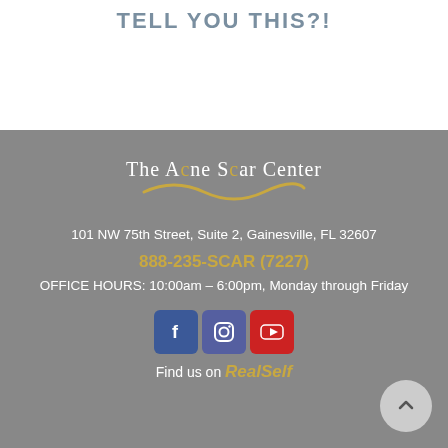TELL YOU THIS?!
[Figure (logo): The Acne Scar Center logo with swoosh underline]
101 NW 75th Street, Suite 2, Gainesville, FL 32607
888-235-SCAR (7227)
OFFICE HOURS: 10:00am – 6:00pm, Monday through Friday
[Figure (infographic): Social media icons for Facebook, Instagram, and YouTube]
Find us on RealSelf